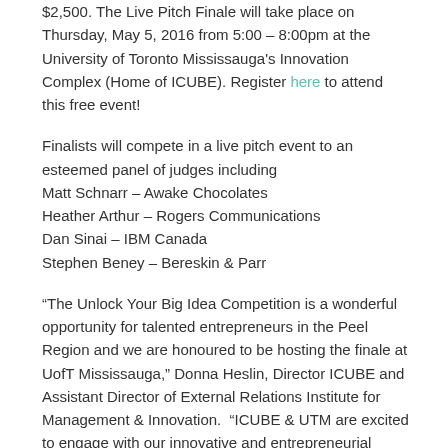$2,500. The Live Pitch Finale will take place on Thursday, May 5, 2016 from 5:00 – 8:00pm at the University of Toronto Mississauga's Innovation Complex (Home of ICUBE). Register here to attend this free event!
Finalists will compete in a live pitch event to an esteemed panel of judges including
Matt Schnarr – Awake Chocolates
Heather Arthur – Rogers Communications
Dan Sinai – IBM Canada
Stephen Beney – Bereskin & Parr
“The Unlock Your Big Idea Competition is a wonderful opportunity for talented entrepreneurs in the Peel Region and we are honoured to be hosting the finale at UofT Mississauga,” Donna Heslin, Director ICUBE and Assistant Director of External Relations Institute for Management & Innovation.  “ICUBE & UTM are excited to engage with our innovative and entrepreneurial